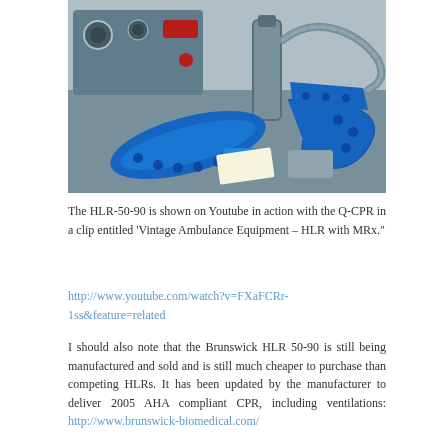[Figure (photo): Photograph of vintage ambulance HLR (Heart-Lung Resuscitator) equipment, including a blue metal device with gauges, blue straps/restraints, a cylindrical metal component with tubing, and other accessories laid out on a surface.]
The HLR-50-90 is shown on Youtube in action with the Q-CPR in a clip entitled 'Vintage Ambulance Equipment – HLR with MRx."
http://www.youtube.com/watch?v=FXaFCRr-1ss&feature=related
I should also note that the Brunswick HLR 50-90 is still being manufactured and sold and is still much cheaper to purchase than competing HLRs. It has been updated by the manufacturer to deliver 2005 AHA compliant CPR, including ventilations: http://www.brunswick-biomedical.com/